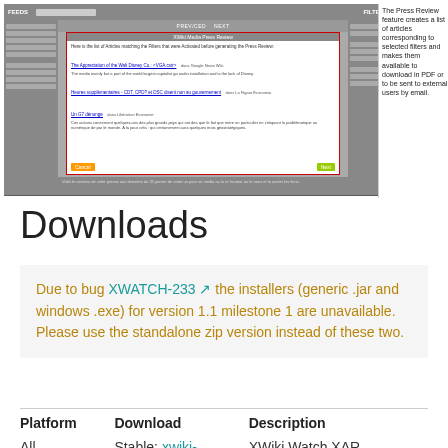[Figure (screenshot): Screenshot of XWiki Press Review feature showing a dialog listing articles matching selected filters, with an annotation explaining the feature creates a list of articles corresponding to selected filters and makes them available to download in PDF or to be sent to external users by email.]
Downloads
Due to bug XWATCH-233 the installers (generic .jar and windows .exe) for version 1.1 milestone 1 are unavailable. Please use the standalone zip version instead of these two.
| Platform | Download | Description |
| --- | --- | --- |
| All | Stable: xwiki- | XWiki Watch XAR |